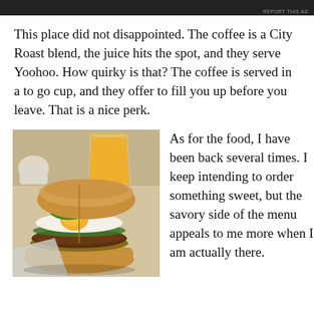[Figure (other): Dark advertisement banner bar at the top with 'REPORT THIS AD' text in small gray letters at right]
This place did not disappointed. The coffee is a City Roast blend, the juice hits the spot, and they serve Yoohoo. How quirky is that? The coffee is served in a to go cup, and they offer to fill you up before you leave. That is a nice perk.
[Figure (photo): Photo of a breakfast sandwich with a fried egg, jalapeño rings on top, on a ciabatta bun, with a glass of orange juice in the background]
As for the food, I have been back several times. I keep intending to order something sweet, but the savory side of the menu appeals to me more when I am actually there.